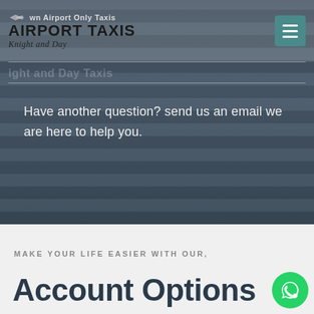[Figure (screenshot): Airport Taxis Knight and Day website header with logo, airplane icon, and hamburger menu on dark bluish-grey background]
Have another question? send us an email we are here to help you.
EMAIL US NOW
MAKE YOUR LIFE EASIER WITH OUR,
Account Options